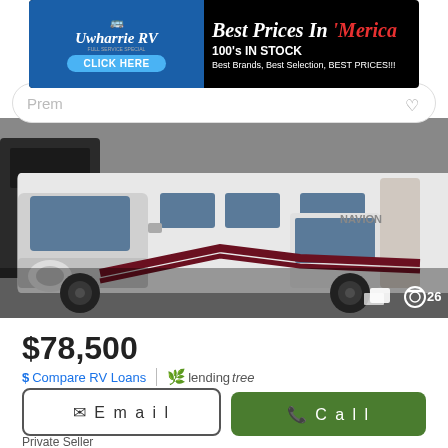[Figure (screenshot): Advertisement banner for Uwharrie RV with text 'Best Prices In Merica', '100's IN STOCK', 'Best Brands, Best Selection, BEST PRICES!!!']
[Figure (photo): Photo of a 2015 Itasca NAVION 24J white RV/motorhome parked in a driveway with trees in background. Camera icon with number 26 in bottom right.]
$78,500
$ Compare RV Loans | lendingtree
2015 Itasca NAVION 24J
51,501 miles
Private Seller
Lake Orion, MI - 397 mi. away
Email
Call